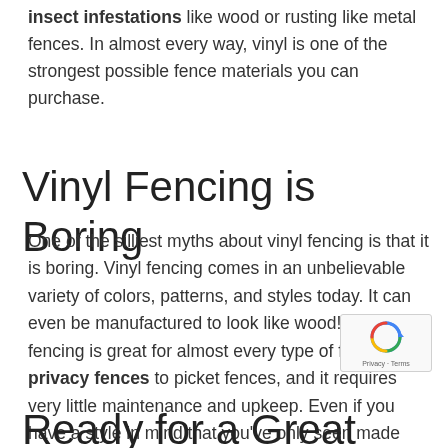insect infestations like wood or rusting like metal fences. In almost every way, vinyl is one of the strongest possible fence materials you can purchase.
Vinyl Fencing is Boring
One of the silliest myths about vinyl fencing is that it is boring. Vinyl fencing comes in an unbelievable variety of colors, patterns, and styles today. It can even be manufactured to look like wood! Vinyl fencing is great for almost every type of fence, from privacy fences to picket fences, and it requires very little maintenance and upkeep. Even if you have a style in mind that you've only seen made from other fencing materials, vinyl can probably mimic the same style for less.
Ready for a Great Quality Vinyl